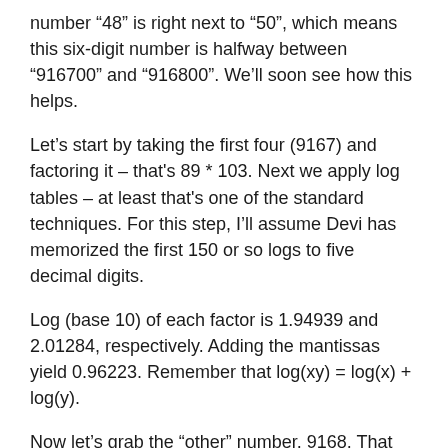number “48” is right next to “50”, which means this six-digit number is halfway between “916700” and “916800”. We’ll soon see how this helps.
Let’s start by taking the first four (9167) and factoring it – that's 89 * 103. Next we apply log tables – at least that's one of the standard techniques. For this step, I’ll assume Devi has memorized the first 150 or so logs to five decimal digits.
Log (base 10) of each factor is 1.94939 and 2.01284, respectively. Adding the mantissas yield 0.96223. Remember that log(xy) = log(x) + log(y).
Now let’s grab the “other” number, 9168. That factors into 48 and 191. Again taking the mantissas of the logs and adding them we get 0.68124 + 0.28103 = 0.96227.